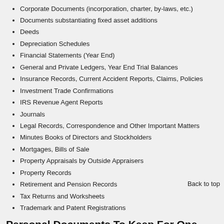Corporate Documents (incorporation, charter, by-laws, etc.)
Documents substantiating fixed asset additions
Deeds
Depreciation Schedules
Financial Statements (Year End)
General and Private Ledgers, Year End Trial Balances
Insurance Records, Current Accident Reports, Claims, Policies
Investment Trade Confirmations
IRS Revenue Agent Reports
Journals
Legal Records, Correspondence and Other Important Matters
Minutes Books of Directors and Stockholders
Mortgages, Bills of Sale
Property Appraisals by Outside Appraisers
Property Records
Retirement and Pension Records
Tax Returns and Worksheets
Trademark and Patent Registrations
Personal Documents To Keep For One Year
While it's important to keep year-end mutual fund and IRA contribution statements, quarterly statements once the year-end statement has arrived.